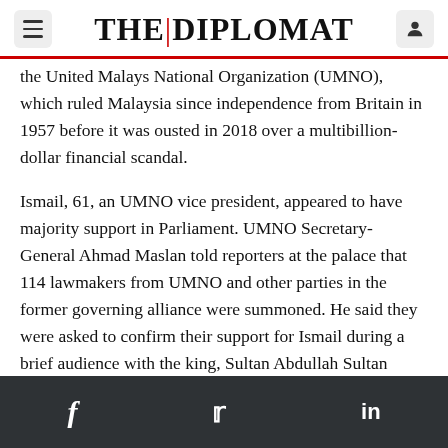THE DIPLOMAT
the United Malays National Organization (UMNO), which ruled Malaysia since independence from Britain in 1957 before it was ousted in 2018 over a multibillion-dollar financial scandal.
Ismail, 61, an UMNO vice president, appeared to have majority support in Parliament. UMNO Secretary-General Ahmad Maslan told reporters at the palace that 114 lawmakers from UMNO and other parties in the former governing alliance were summoned. He said they were asked to confirm their support for Ismail during a brief audience with the king, Sultan Abdullah Sultan Ahmad Shah.
f  twitter  in